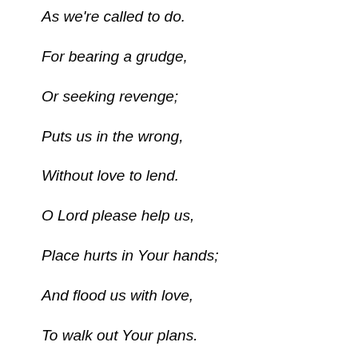As we're called to do.
For bearing a grudge,
Or seeking revenge;
Puts us in the wrong,
Without love to lend.
O Lord please help us,
Place hurts in Your hands;
And flood us with love,
To walk out Your plans.
Dear Heavenly Father, thank You that You